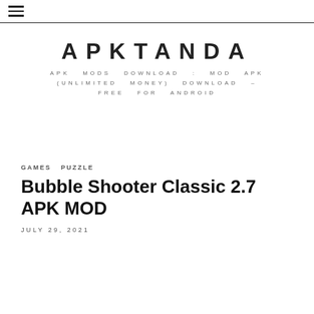≡ (hamburger menu)
APKTANDA
APK MODS DOWNLOAD : MOD APK (UNLIMITED MONEY) DOWNLOAD – FREE FOR ANDROID
GAMES   PUZZLE
Bubble Shooter Classic 2.7 APK MOD
JULY 29, 2021